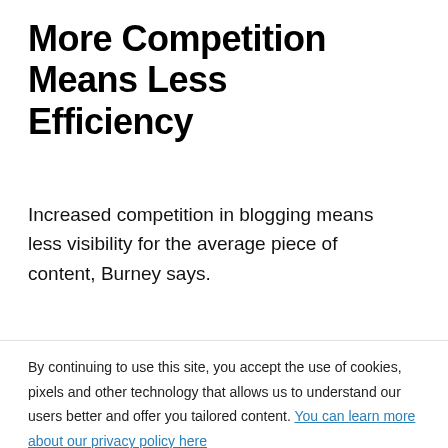More Competition Means Less Efficiency
Increased competition in blogging means less visibility for the average piece of content, Burney says.
By continuing to use this site, you accept the use of cookies, pixels and other technology that allows us to understand our users better and offer you tailored content. You can learn more about our privacy policy here
GOT IT